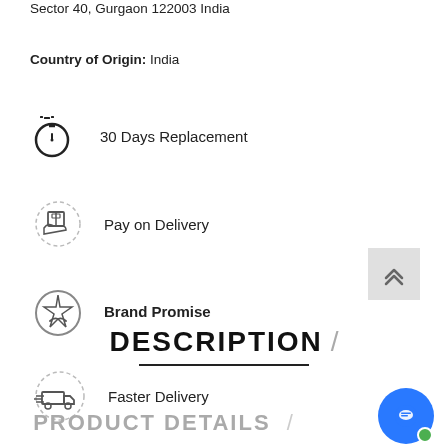Sector 40, Gurgaon 122003 India
Country of Origin: India
30 Days Replacement
Pay on Delivery
Brand Promise
Faster Delivery
DESCRIPTION
PRODUCT DETAILS